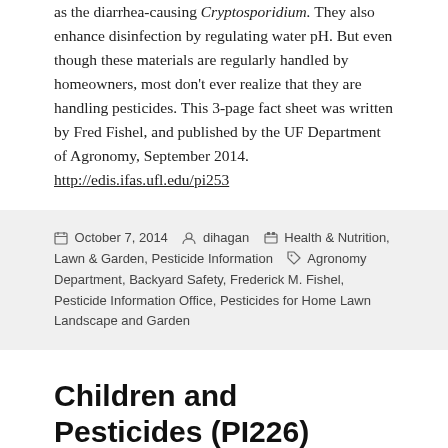as the diarrhea-causing Cryptosporidium. They also enhance disinfection by regulating water pH. But even though these materials are regularly handled by homeowners, most don't ever realize that they are handling pesticides. This 3-page fact sheet was written by Fred Fishel, and published by the UF Department of Agronomy, September 2014. http://edis.ifas.ufl.edu/pi253
October 7, 2014 | dihagan | Health & Nutrition, Lawn & Garden, Pesticide Information | Agronomy Department, Backyard Safety, Frederick M. Fishel, Pesticide Information Office, Pesticides for Home Lawn Landscape and Garden
Children and Pesticides (PI226)